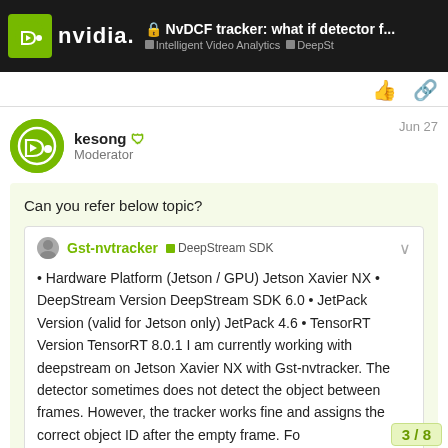NvDCF tracker: what if detector f... | Intelligent Video Analytics | DeepSt
kesong  Moderator
Jun 27
Can you refer below topic?
Gst-nvtracker  DeepStream SDK
• Hardware Platform (Jetson / GPU) Jetson Xavier NX • DeepStream Version DeepStream SDK 6.0 • JetPack Version (valid for Jetson only) JetPack 4.6 • TensorRT Version TensorRT 8.0.1 I am currently working with deepstream on Jetson Xavier NX with Gst-nvtracker. The detector sometimes does not detect the object between frames. However, the tracker works fine and assigns the correct object ID after the empty frame. Fo...
3 / 8